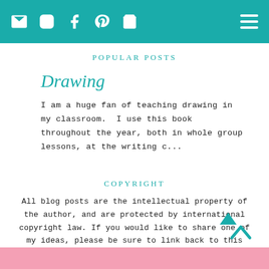[navigation icons: email, instagram, facebook, pinterest, cart] [hamburger menu]
POPULAR POSTS
Drawing
I am a huge fan of teaching drawing in my classroom.  I use this book throughout the year, both in whole group lessons, at the writing c...
COPYRIGHT
All blog posts are the intellectual property of the author, and are protected by international copyright law. If you would like to share one of my ideas, please be sure to link back to this blog. Thank you!
[pink footer bar]